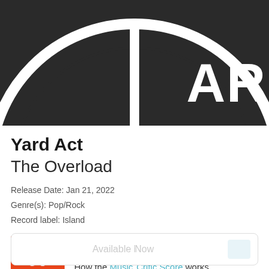[Figure (photo): Album artwork for Yard Act - The Overload. Dark grey/black circular logo with white lettering 'AR' visible on the right, on a dark background. The image is cropped showing only the top portion of the circular logo.]
Yard Act
The Overload
Release Date: Jan 21, 2022
Genre(s): Pop/Rock
Record label: Island
Music Critic Score
How the Music Critic Score works
Available Now